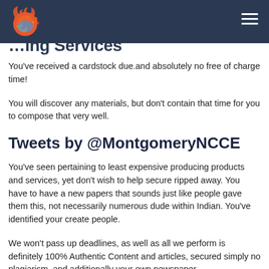...ing Services
You’ve received a cardstock due.and absolutely no free of charge time!
You will discover any materials, but don’t contain that time for you to compose that very well.
Tweets by @MontgomeryNCCE
You’ve seen pertaining to least expensive producing products and services, yet don’t wish to help secure ripped away. You have to have a new papers that sounds just like people gave them this, not necessarily numerous dude within Indian. You’ve identified your create people.
We won't pass up deadlines, as well as all we perform is definitely 100% Authentic Content and articles, secured simply no plagiarism, and additionally your own newspaper